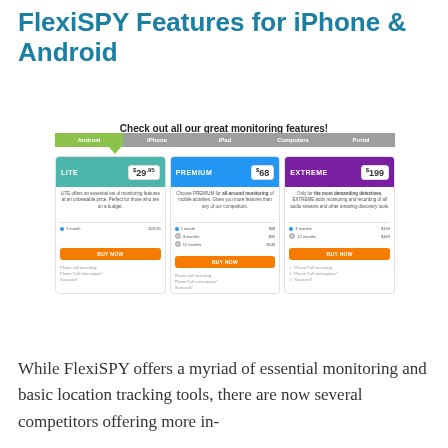FlexiSPY Features for iPhone & Android
Check out all our great monitoring features!
[Figure (screenshot): FlexiSPY pricing page screenshot showing three plan tabs (Android, iPhone, iPad, Computers, Portal) and three pricing cards: LITE $29.95, PREMIUM $68, EXTREME $199, each with descriptions, subscription options, BUY NOW buttons, and feature lists.]
While FlexiSPY offers a myriad of essential monitoring and basic location tracking tools, there are now several competitors offering more in-